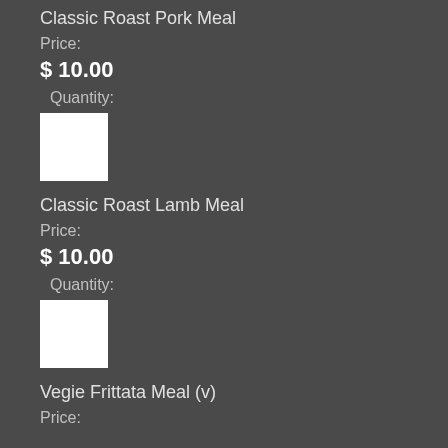Classic Roast Pork Meal
Price:
$ 10.00
Quantity:
[Figure (other): White quantity input box]
Classic Roast Lamb Meal
Price:
$ 10.00
Quantity:
[Figure (other): White quantity input box]
Vegie Frittata Meal (v)
Price: